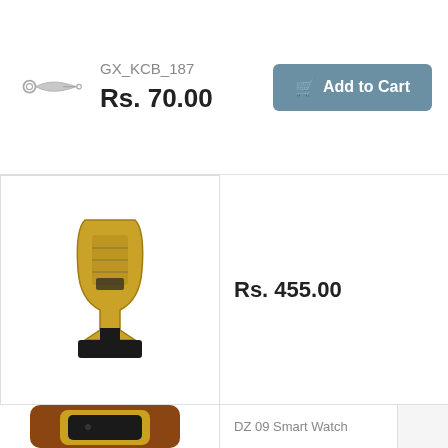[Figure (photo): Small keychain product image]
GX_KCB_187
Rs. 70.00
Add to Cart
[Figure (photo): Gold trophy/award product image]
Rs. 455.00
[Figure (photo): B 90 watch speaker product image]
B 90 - GX_MFT_101
Rs. 1,034.00
[Figure (photo): DZ 09 Smart Watch product image]
DZ 09 Smart Watch